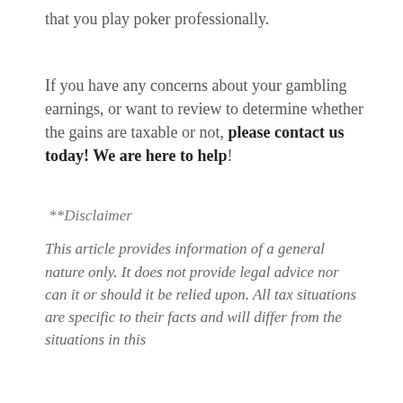that you play poker professionally.
If you have any concerns about your gambling earnings, or want to review to determine whether the gains are taxable or not, please contact us today! We are here to help!
**Disclaimer
This article provides information of a general nature only. It does not provide legal advice nor can it or should it be relied upon. All tax situations are specific to their facts and will differ from the situations in this